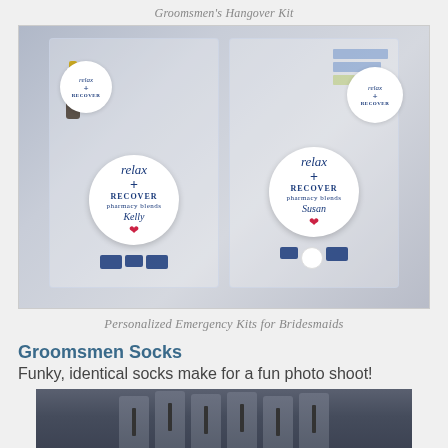Groomsmen's Hangover Kit
[Figure (photo): Two transparent bags filled with personalized hangover/recovery kits for bridesmaids. Each bag contains a round white badge reading 'relax + RECOVER' with a personalized name (Kelly, Susan) and a lip icon, along with various small items including navy blue decorative pieces.]
Personalized Emergency Kits for Bridesmaids
Groomsmen Socks
Funky, identical socks make for a fun photo shoot!
[Figure (photo): Bottom portion of a photo showing groomsmen in suits, cropped at the waist level showing suit jackets and ties.]